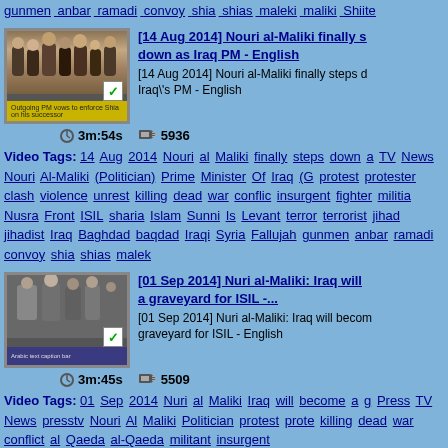gunmen anbar ramadi convoy shia shias maleki maliki Shiite
[Figure (screenshot): Video thumbnail showing group of people, with yellow caption bar at bottom and green checkmark]
[14 Aug 2014] Nouri al-Maliki finally steps down as Iraq PM - English
[14 Aug 2014] Nouri al-Maliki finally steps down as Iraq's PM - English
3m:54s  5936
Video Tags: 14 Aug 2014 Nouri al Maliki finally steps down a TV News Nouri Al-Maliki (Politician) Prime Minister Of Iraq (G protest protester clash violence unrest killing dead war conflic insurgent fighter militia Nusra Front ISIL sharia Islam Sunni Is Levant terror terrorist jihad jihadist Iraq Baghdad baqdad Iraqi Syria Fallujah gunmen anbar ramadi convoy shia shias malek
[Figure (screenshot): Video thumbnail showing people in interior setting, dark tones, with blue caption bar at bottom and green checkmark]
[01 Sep 2014] Nuri al-Maliki: Iraq will become a graveyard for ISIL -...
[01 Sep 2014] Nuri al-Maliki: Iraq will become a graveyard for ISIL - English
3m:45s  5509
Video Tags: 01 Sep 2014 Nuri al Maliki Iraq will become a g Press TV News presstv Nouri Al Maliki Politician protest prote killing dead war conflict al Qaeda al-Qaeda militant insurgent